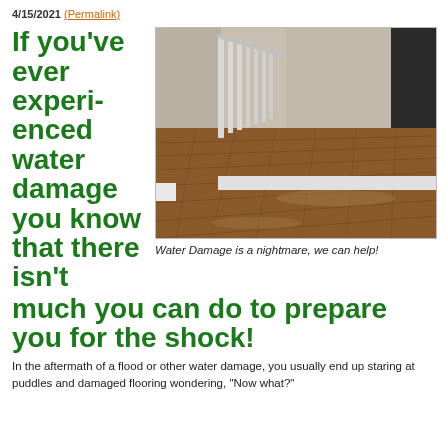4/15/2021 (Permalink)
If you've ever experienced water damage you know that there isn't much you can do to prepare you for the shock!
[Figure (photo): Photo of hardwood flooring in a hallway showing water damage, with white stair railing in the background]
Water Damage is a nightmare, we can help!
In the aftermath of a flood or other water damage, you usually end up staring at puddles and damaged flooring wondering, "Now what?"